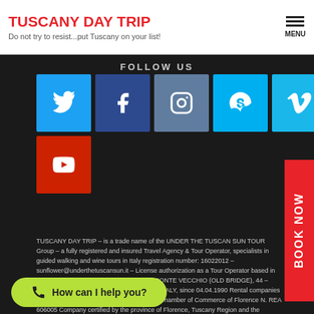TUSCANY DAY TRIP
Do not try to resist...put Tuscany on your list!
FOLLOW US
[Figure (infographic): Six social media icon buttons: Twitter (light blue), Facebook (dark blue), Instagram (slate blue), Skype (light blue), Vimeo (light blue), YouTube (red)]
TUSCANY DAY TRIP – is a trade name of the UNDER THE TUSCAN SUN TOUR Group – a fully registered and insured Travel Agency & Tour Operator, specialists in guided walking and wine tours in Italy registration number: 16022012 – sunflower@underthetuscansun.it – License authorization as a Tour Operator based in Florence (Tuscany – ITALY ) LUNGARNO PONTE VECCHIO (OLD BRIDGE), 44 – FIRENZE (FI) – FLORENCE – TUSCANY – ITALY, since 04.04.1990 Rental companies with Driver Guide regularly registered at the Chamber of Commerce of Florence N. REA 606005 Company certified by the province of Florence, Tuscany Region and the Government of Italy. – Insurance: EUROPE Assistance Italia S.p.A.- n. 711715 mobile (+39) 348 3146644 – P.IVA: conditions for UNDER THE TUSCAN SUN...provincia di Firenze Florence Guided ...Chianti Tours – Personalized Tours of Florence, Tuscany and Italy Individual, Family and Group Tours Designed Just
How can I help you?